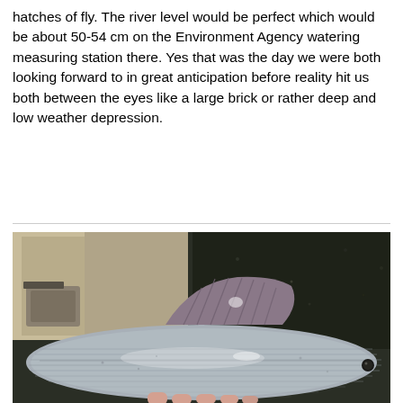hatches of fly. The river level would be perfect which would be about 50-54 cm on the Environment Agency watering measuring station there. Yes that was the day we were both looking forward to in great anticipation before reality hit us both between the eyes like a large brick or rather deep and low weather depression.
[Figure (photo): Close-up photo of a large fish (grayling) being held by a person wearing a fishing vest/jacket, shown from above with the fish's dorsal fin and scales visible, over dark water in the background.]